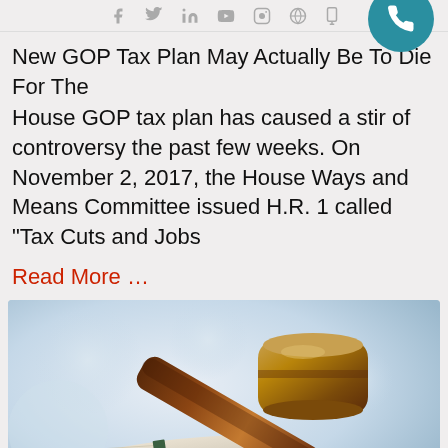f  y  in  yt  ig  globe  mobile
New GOP Tax Plan May Actually Be To Die For The
House GOP tax plan has caused a stir of controversy the past few weeks. On November 2, 2017, the House Ways and Means Committee issued H.R. 1 called "Tax Cuts and Jobs
Read More …
[Figure (photo): Close-up photograph of a wooden judge's gavel resting on a surface, with an open book in the background, soft blue-white bokeh lighting.]